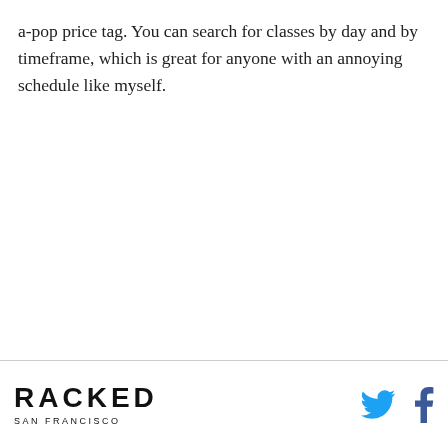a-pop price tag. You can search for classes by day and by timeframe, which is great for anyone with an annoying schedule like myself.
RACKED SAN FRANCISCO [with Twitter and Facebook icons]